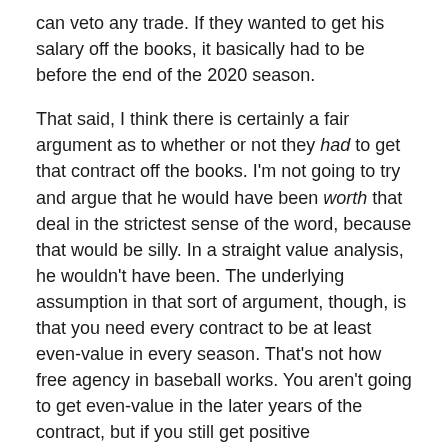can veto any trade. If they wanted to get his salary off the books, it basically had to be before the end of the 2020 season.
That said, I think there is certainly a fair argument as to whether or not they had to get that contract off the books. I'm not going to try and argue that he would have been worth that deal in the strictest sense of the word, because that would be silly. In a straight value analysis, he wouldn't have been. The underlying assumption in that sort of argument, though, is that you need every contract to be at least even-value in every season. That's not how free agency in baseball works. You aren't going to get even-value in the later years of the contract, but if you still get positive contributions you can live with it.